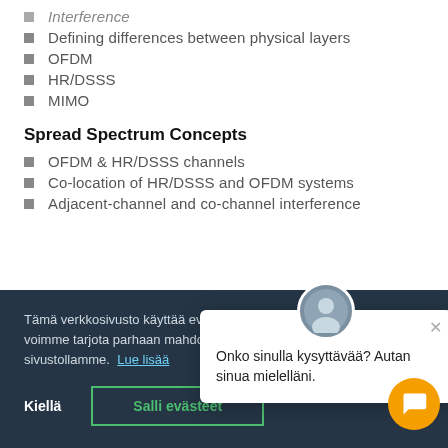Interference
Defining differences between physical layers
OFDM
HR/DSSS
MIMO
Spread Spectrum Concepts
OFDM & HR/DSSS channels
Co-location of HR/DSSS and OFDM systems
Adjacent-channel and co-channel interference
Tämä verkkosivusto k... voimme tarjota parhaa... sivustollamme. Lue lis...
Onko sinulla kysyttävää? Autan sinua mielelläni.
Kiellä
Salli evästeet